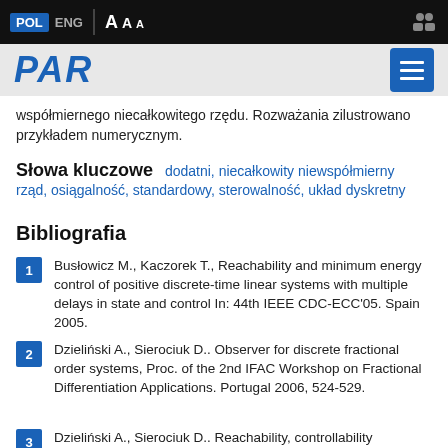POL ENG A A A
współmiernego niecałkowitego rzędu. Rozważania zilustrowano przykładem numerycznym.
Słowa kluczowe   dodatni, niecałkowity niewspółmierny rząd, osiągalność, standardowy, sterowalność, układ dyskretny
Bibliografia
1  Busłowicz M., Kaczorek T., Reachability and minimum energy control of positive discrete-time linear systems with multiple delays in state and control In: 44th IEEE CDC-ECC'05. Spain 2005.
2  Dzieliński A., Sierociuk D.. Observer for discrete fractional order systems, Proc. of the 2nd IFAC Workshop on Fractional Differentiation Applications. Portugal 2006, 524-529.
3  Dzieliński A., Sierociuk D.. Reachability, controllability